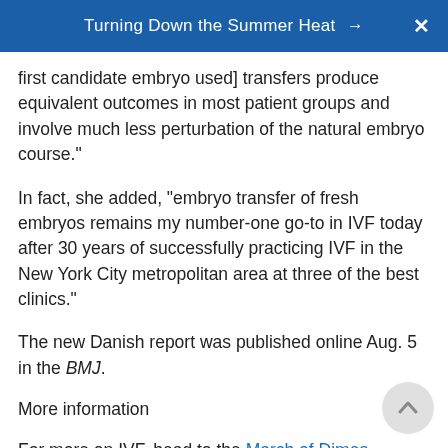Turning Down the Summer Heat →  X
first candidate embryo used] transfers produce equivalent outcomes in most patient groups and involve much less perturbation of the natural embryo course."
In fact, she added, "embryo transfer of fresh embryos remains my number-one go-to in IVF today after 30 years of successfully practicing IVF in the New York City metropolitan area at three of the best clinics."
The new Danish report was published online Aug. 5 in the BMJ.
More information
For more on IVF, head to the March of Dimes.
SOURCES: Nicole Noyes, MD, system chief for